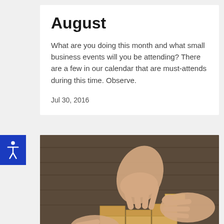August
What are you doing this month and what small business events will you be attending? There are a few in our calendar that are must-attends during this time. Observe.
Jul 30, 2016
[Figure (photo): Hands stacking wooden blocks in a staircase pattern on a wooden surface. Multiple hands collaborating to build steps with small wooden cubes.]